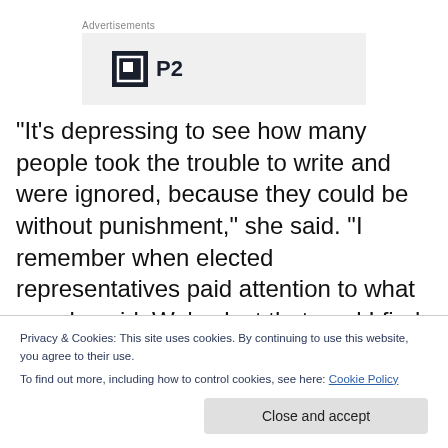Advertisements
[Figure (logo): P2 logo with dark square icon and bold text 'P2' on a light grey advertisement background]
“It’s depressing to see how many people took the trouble to write and were ignored, because they could be without punishment,” she said. “I remember when elected representatives paid attention to what people said. We’ve lost that, and I find that very disturbing.”
Privacy & Cookies: This site uses cookies. By continuing to use this website, you agree to their use.
To find out more, including how to control cookies, see here: Cookie Policy